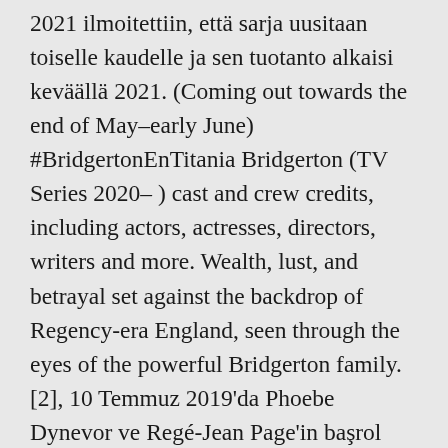2021 ilmoitettiin, että sarja uusitaan toiselle kaudelle ja sen tuotanto alkaisi keväällä 2021. (Coming out towards the end of May–early June) #BridgertonEnTitania Bridgerton (TV Series 2020– ) cast and crew credits, including actors, actresses, directors, writers and more. Wealth, lust, and betrayal set against the backdrop of Regency-era England, seen through the eyes of the powerful Bridgerton family. [2], 10 Temmuz 2019'da Phoebe Dynevor ve Regé-Jean Page'in başrol oynayacağı, Jonathan Bailey, Golda Rosheuvel, Luke Newton, Claudia Jessie, Nicola Coughlan, Ruby Barker, Sabrina Bartlett, Ruth Gemmell, Adjoa Andoh ve Polly'nin oynayacağı açıklandı.